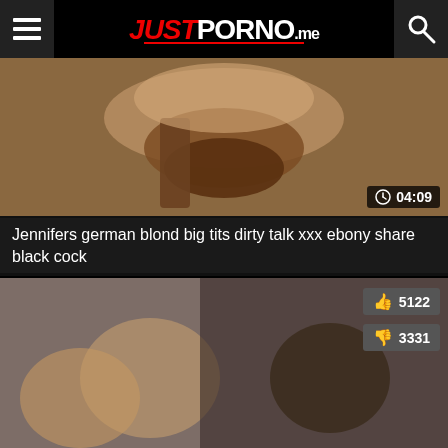JUSTPORNO.me
[Figure (screenshot): Video thumbnail for adult content video]
Jennifers german blond big tits dirty talk xxx ebony share black cock
[Figure (screenshot): Video thumbnail with like count 5122 and dislike count 3331]